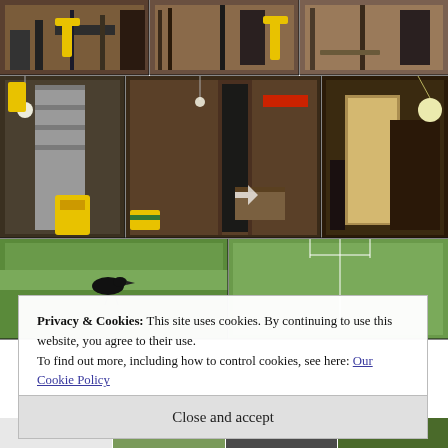[Figure (photo): Grid of construction/workshop interior photos showing wood framing, tools, and partially built walls. Top row: three wide photos of construction site interior. Middle row: three photos of workshop with tools, doors, and equipment. Bottom area: two photos of green lawn/grass with a black bird and a white goal post.]
Privacy & Cookies: This site uses cookies. By continuing to use this website, you agree to their use.
To find out more, including how to control cookies, see here: Our Cookie Policy
Close and accept